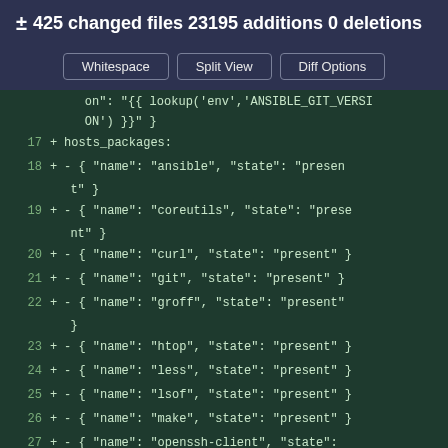± 425 changed files 23195 additions 0 deletions
[Figure (screenshot): Three buttons: Whitespace, Split View, Diff Options]
on": "{{ lookup('env','ANSIBLE_GIT_VERSION') }}" }
17 + hosts_packages:
18 + - { "name": "ansible", "state": "present" }
19 + - { "name": "coreutils", "state": "present" }
20 + - { "name": "curl", "state": "present" }
21 + - { "name": "git", "state": "present" }
22 + - { "name": "groff", "state": "present" }
23 + - { "name": "htop", "state": "present" }
24 + - { "name": "less", "state": "present" }
25 + - { "name": "lsof", "state": "present" }
26 + - { "name": "make", "state": "present" }
27 + - { "name": "openssh-client", "state": "present" }
28 + - { "name": "util-linux", "state": "pres